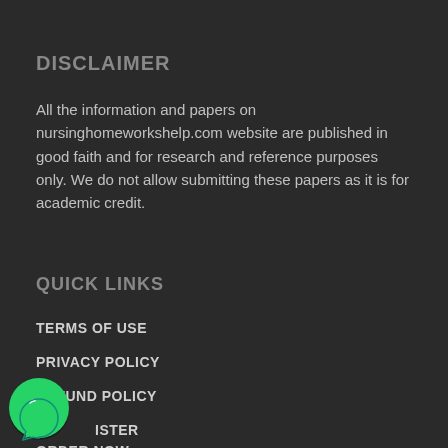DISCLAIMER
All the information and papers on nursinghomeworkshelp.com website are published in good faith and for research and reference purposes only. We do not allow submitting these papers as it is for academic credit.
QUICK LINKS
TERMS OF USE
PRIVACY POLICY
REFUND POLICY
REGISTER
ORDER NOW